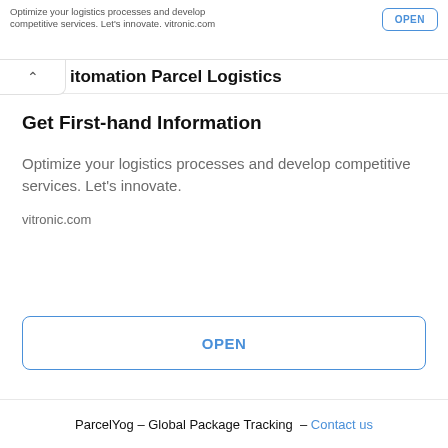Optimize your logistics processes and develop competitive services. Let's innovate. vitronic.com
ItomationParcel Logistics
Get First-hand Information
Optimize your logistics processes and develop competitive services. Let’s innovate.
vitronic.com
OPEN
ParcelYog – Global Package Tracking – Contact us